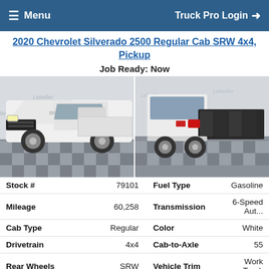≡ Menu    Truck Pro Login →
2020 Chevrolet Silverado 2500 Regular Cab SRW 4x4, Pickup
Job Ready: Now
[Figure (photo): Front 3/4 view of a white 2020 Chevrolet Silverado 2500 Regular Cab pickup truck in a showroom with checkered floor]
[Figure (photo): Rear 3/4 view of a white 2020 Chevrolet Silverado 2500 Regular Cab pickup truck with a flatbed/work body installed, in a showroom]
| Attribute | Value | Attribute | Value |
| --- | --- | --- | --- |
| Stock # | 79101 | Fuel Type | Gasoline |
| Mileage | 60,258 | Transmission | 6-Speed Aut... |
| Cab Type | Regular | Color | White |
| Drivetrain | 4x4 | Cab-to-Axle | 55 |
| Rear Wheels | SRW | Vehicle Trim | Work Truck |